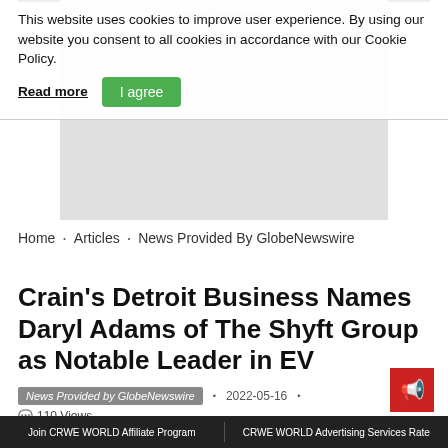This website uses cookies to improve user experience. By using our website you consent to all cookies in accordance with our Cookie Policy.
Read more  |  I agree
Home • Articles • News Provided By GlobeNewswire
Crain's Detroit Business Names Daryl Adams of The Shyft Group as Notable Leader in EV
News Provided by GlobeNewswire • 2022-05-16 • 110 Views
Facebook  Tweet  LinkedIn  Reddit  Digg  VKontakte  Flipboard  Email  ShareThis
Serving as President and CEO since 2015, Adams leads an orga